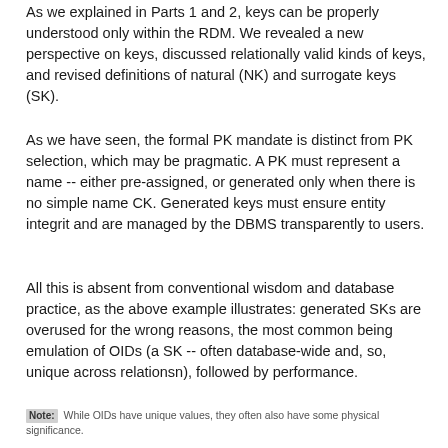As we explained in Parts 1 and 2, keys can be properly understood only within the RDM. We revealed a new perspective on keys, discussed relationally valid kinds of keys, and revised definitions of natural (NK) and surrogate keys (SK).
As we have seen, the formal PK mandate is distinct from PK selection, which may be pragmatic. A PK must represent a name -- either pre-assigned, or generated only when there is no simple name CK. Generated keys must ensure entity integrit and are managed by the DBMS transparently to users.
All this is absent from conventional wisdom and database practice, as the above example illustrates: generated SKs are overused for the wrong reasons, the most common being emulation of OIDs (a SK -- often database-wide and, so, unique across relationsn), followed by performance.
Note: While OIDs have unique values, they often also have some physical significance.